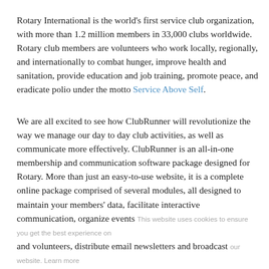Rotary International is the world's first service club organization, with more than 1.2 million members in 33,000 clubs worldwide. Rotary club members are volunteers who work locally, regionally, and internationally to combat hunger, improve health and sanitation, provide education and job training, promote peace, and eradicate polio under the motto Service Above Self.
We are all excited to see how ClubRunner will revolutionize the way we manage our day to day club activities, as well as communicate more effectively. ClubRunner is an all-in-one membership and communication software package designed for Rotary. More than just an easy-to-use website, it is a complete online package comprised of several modules, all designed to maintain your members' data, facilitate interactive communication, organize events and volunteers, distribute email newsletters and broadcast communications, improve public relations, and help run a club more efficiently.Accessible by all club members through a password protected member area, it allows every member to access key information to communicate much more effectively, as well as share information and collaborate better, as well as automate administrative